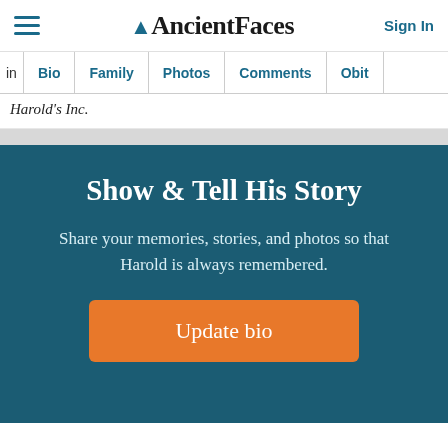AncientFaces — Sign In
in Harold's Inc.
Show & Tell His Story
Share your memories, stories, and photos so that Harold is always remembered.
Update bio